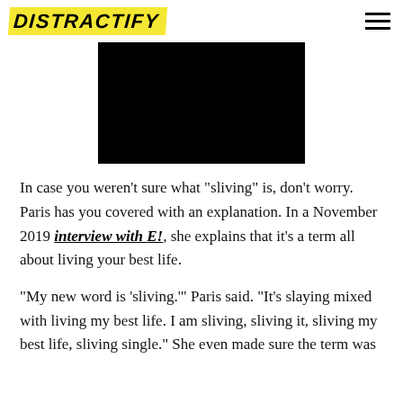DISTRACTIFY
[Figure (other): Black video player rectangle]
In case you weren't sure what "sliving" is, don't worry. Paris has you covered with an explanation. In a November 2019 interview with E!, she explains that it's a term all about living your best life.
"My new word is 'sliving.'" Paris said. "It's slaying mixed with living my best life. I am sliving, sliving it, sliving my best life, sliving single." She even made sure the term was